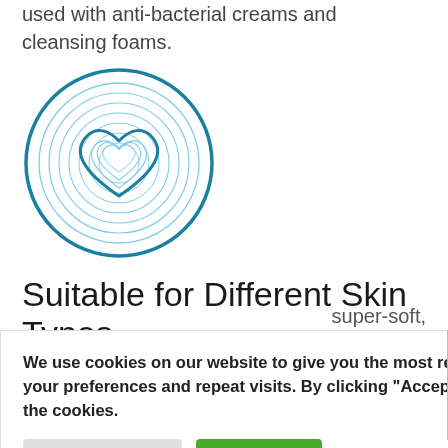used with anti-bacterial creams and cleansing foams.
[Figure (logo): Circular logo with concentric rings and a heart with fingerprint lines inside, in teal/blue colors]
Suitable for Different Skin Types
Conti Standard Dry Wipes can be used on all areas of the body. As they as super-soft, sensitive
pes,
We use cookies on our website to give you the most relevant experience by remembering your preferences and repeat visits. By clicking "Accept All", you consent to the use of ALL the cookies.
Cookie Settings
Accept All
Related